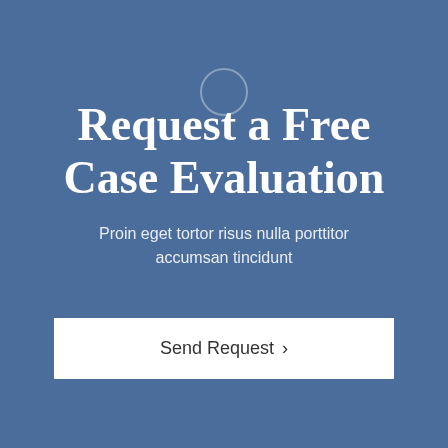[Figure (illustration): Small circular icon outline near top center of blue background]
Request a Free Case Evaluation
Proin eget tortor risus nulla porttitor accumsan tincidunt
Send Request ›